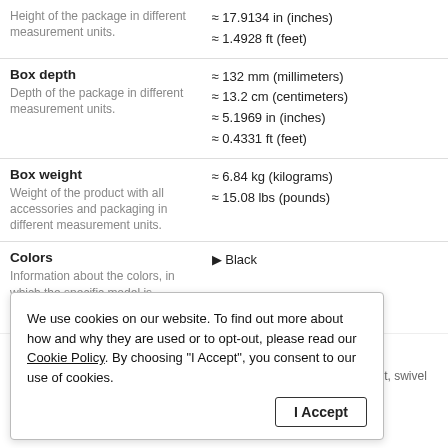| Attribute | Value |
| --- | --- |
| Height of the package in different measurement units. | ≈ 17.9134 in (inches)
≈ 1.4928 ft (feet) |
| Box depth
Depth of the package in different measurement units. | ≈ 132 mm (millimeters)
≈ 13.2 cm (centimeters)
≈ 5.1969 in (inches)
≈ 0.4331 ft (feet) |
| Box weight
Weight of the product with all accessories and packaging in different measurement units. | ≈ 6.84 kg (kilograms)
≈ 15.08 lbs (pounds) |
| Colors
Information about the colors, in which the specific model is offered to the market. | ▶ Black |
Ergonomics
Information about the ergonomic functions - height adjustment, swivel angl...
We use cookies on our website. To find out more about how and why they are used or to opt-out, please read our Cookie Policy. By choosing "I Accept", you consent to our use of cookies.